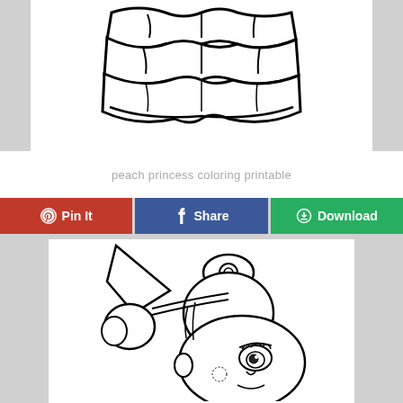[Figure (illustration): Partial coloring page illustration of Princess Peach's dress/skirt bottom with ruffled layers, black outline on white background, cropped at top]
peach princess coloring printable
Pin It | Share | Download
[Figure (illustration): Coloring page illustration of Princess Peach's head/face with crown, hair buns, and earrings, black outline on white background, partially cropped]